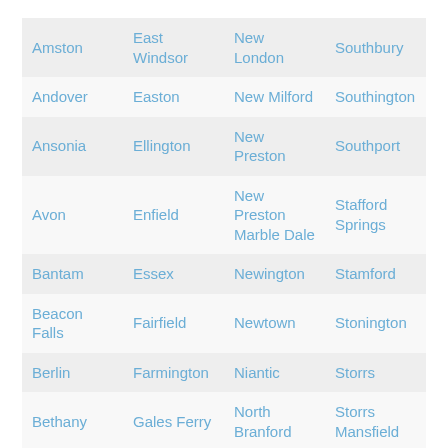| Amston | East Windsor | New London | Southbury |
| Andover | Easton | New Milford | Southington |
| Ansonia | Ellington | New Preston | Southport |
| Avon | Enfield | New Preston Marble Dale | Stafford Springs |
| Bantam | Essex | Newington | Stamford |
| Beacon Falls | Fairfield | Newtown | Stonington |
| Berlin | Farmington | Niantic | Storrs |
| Bethany | Gales Ferry | North Branford | Storrs Mansfield |
| Bethel | Glastonbury | North Franklin | Stratford |
|  |  | North |  |